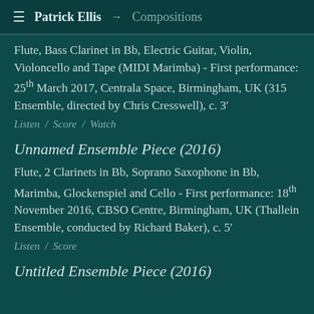≡  Patrick Ellis  →  Compositions
Flute, Bass Clarinet in Bb, Electric Guitar, Violin, Violoncello and Tape (MIDI Marimba) - First performance: 25th March 2017, Centrala Space, Birmingham, UK (315 Ensemble, directed by Chris Cresswell), c. 3′
Listen / Score / Watch
Unnamed Ensemble Piece (2016)
Flute, 2 Clarinets in Bb, Soprano Saxophone in Bb, Marimba, Glockenspiel and Cello - First performance: 18th November 2016, CBSO Centre, Birmingham, UK (Thallein Ensemble, conducted by Richard Baker), c. 5′
Listen / Score
Untitled Ensemble Piece (2016)